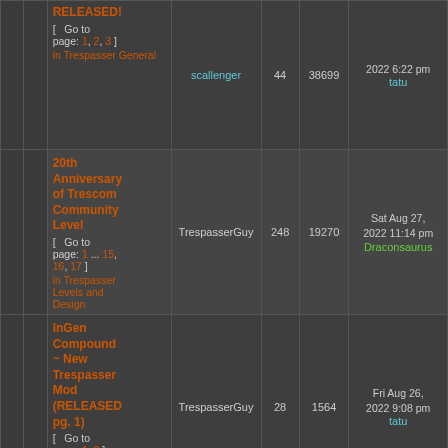|  |  | Topic | Author | Replies | Views | Last Post |
| --- | --- | --- | --- | --- | --- | --- |
|  |  | RELEASED! [Go to page: 1, 2, 3] in Trespasser General | scallenger | 44 | 38699 | 2022 6:22 pm tatu |
|  |  | 20th Anniversary of Trescom Community Level [Go to page: 1...15, 16, 17] in Trespasser Levels and Design | TrespasserGuy | 248 | 19270 | Sat Aug 27, 2022 11:14 pm Draconsaurus |
|  |  | InGen Compound ~ New Trespasser Mod (RELEASED pg. 1) [Go to page: 1, 2] in Trespasser Levels and Design | TrespasserGuy | 28 | 1564 | Fri Aug 26, 2022 9:08 pm tatu |
|  |  | Cloning Facility [Go to page: 1...7, 8, | TheIdiot | 120 | 20546 | Fri Aug 26, 2022 4:34 pm |